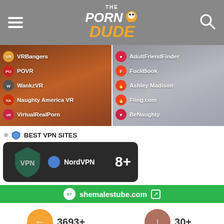The Porn Dude
[Figure (screenshot): Left panel showing VR porn site list: VRBangers, POVR, WankzVR, Naughty America VR, VirtualRealPorn over couple image]
[Figure (screenshot): Right panel showing dating site list: AdultFriendFinder, FuckBook, Ashley Madison, Fling.com, BeNaughty over woman with laptop]
BEST VPN SITES
[Figure (screenshot): VPN card showing NordVPN with 8+ count on dark background]
shemalestube.com
3693+
All Porn Sites
30+
Shemale Porn Sites